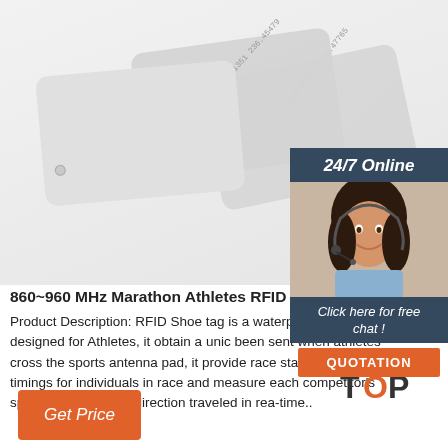[Figure (photo): Two white RFID key fob cards with printed serial numbers, displayed at an angle on white background]
[Figure (infographic): 24/7 Online chat widget with woman wearing headset, 'Click here for free chat!' text, and orange QUOTATION button]
860~960 MHz Marathon Athletes RFID Shoe Tag
Product Description: RFID Shoe tag is a waterproof timing system, designed for Athletes, it obtain a unique been sent when athletes cross the sports antenna pad, it provide race starting and ending timings for individuals in race and measure each competitor's speed, distance and direction traveled in real-time..
[Figure (infographic): Back to TOP button with orange dots above the letters, O replaced with orange circle]
Get Price